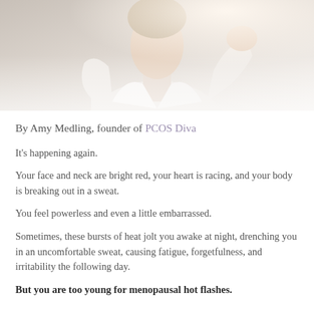[Figure (photo): Photo of a person in a white shirt, bright light behind them, cropped at chest/neck level]
By Amy Medling, founder of PCOS Diva
It's happening again.
Your face and neck are bright red, your heart is racing, and your body is breaking out in a sweat.
You feel powerless and even a little embarrassed.
Sometimes, these bursts of heat jolt you awake at night, drenching you in an uncomfortable sweat, causing fatigue, forgetfulness, and irritability the following day.
But you are too young for menopausal hot flashes.